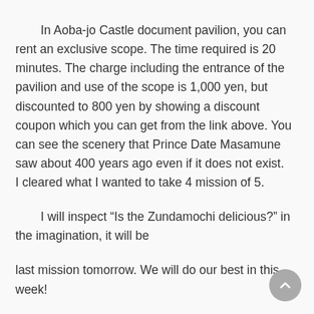In Aoba-jo Castle document pavilion, you can rent an exclusive scope. The time required is 20 minutes. The charge including the entrance of the pavilion and use of the scope is 1,000 yen, but discounted to 800 yen by showing a discount coupon which you can get from the link above. You can see the scenery that Prince Date Masamune saw about 400 years ago even if it does not exist.    I cleared what I wanted to take 4 mission of 5.
I will inspect “Is the Zundamochi delicious?” in the imagination, it will be
last mission tomorrow. We will do our best in this week!